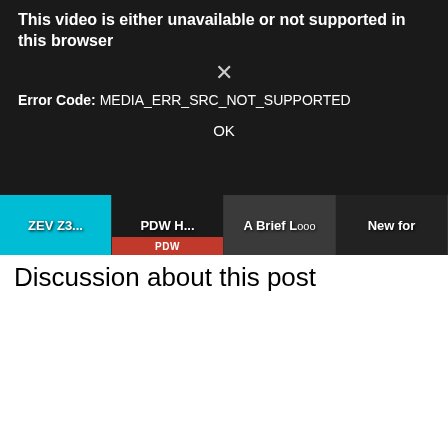[Figure (screenshot): Browser video error overlay on dark background showing: 'This video is either unavailable or not supported in this browser', with an X mark, 'Error Code: MEDIA_ERR_SRC_NOT_SUPPORTED', and an OK button. Below are four video thumbnails: 'ZEV Z3...', 'PDW H...', 'A Brief L...', 'New for'.]
Discussion about this post
[Figure (photo): Advertisement for R7 MAKO pistol by Kimber. Shows a black handgun on a gray gradient background. Text reads: R7 MAKO, UP TO $100 CREDIT WITH PURCHASE. Kimber script logo at bottom.]